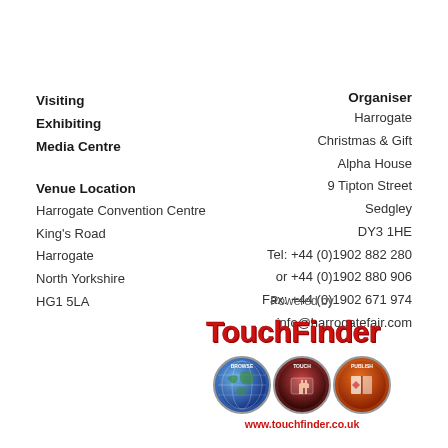Visiting
Exhibiting
Media Centre
Venue Location
Harrogate Convention Centre
King's Road
Harrogate
North Yorkshire
HG1 5LA
Organiser
Harrogate
Christmas & Gift
Alpha House
9 Tipton Street
Sedgley
DY3 1HE
Tel: +44 (0)1902 882 280
or +44 (0)1902 880 906
Fax: +44 (0)1902 671 974
info@harrogatefair.com
[Figure (logo): TouchFinder logo with 'Powered by' text above, three circular icons (BROWSE globe, TOUCH hand, PUBLISH book) and www.touchfinder.co.uk URL below]